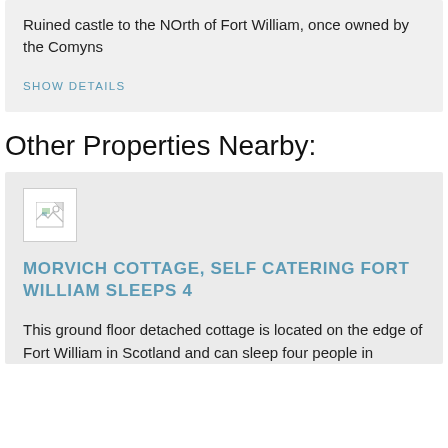Ruined castle to the NOrth of Fort William, once owned by the Comyns
SHOW DETAILS
Other Properties Nearby:
[Figure (photo): Broken/missing image placeholder icon]
MORVICH COTTAGE, SELF CATERING FORT WILLIAM SLEEPS 4
This ground floor detached cottage is located on the edge of Fort William in Scotland and can sleep four people in